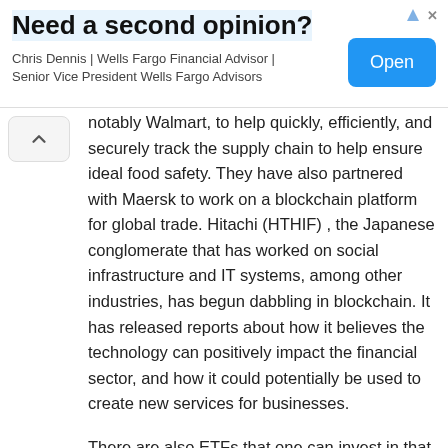[Figure (other): Advertisement banner: 'Need a second opinion?' - Chris Dennis | Wells Fargo Financial Advisor | Senior Vice President Wells Fargo Advisors, with an 'Open' button]
notably Walmart, to help quickly, efficiently, and securely track the supply chain to help ensure ideal food safety. They have also partnered with Maersk to work on a blockchain platform for global trade. Hitachi (HTHIF) , the Japanese conglomerate that has worked on social infrastructure and IT systems, among other industries, has begun dabbling in blockchain. It has released reports about how it believes the technology can positively impact the financial sector, and how it could potentially be used to create new services for businesses.
There are also ETFs that one can invest in that hold a number of stocks related to blockchain. For example, the Reality Shares Nasdaq NextGen Economy ETF